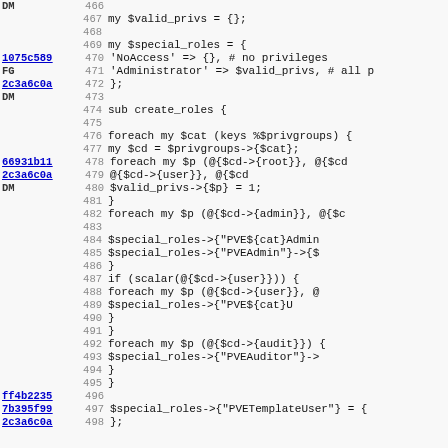[Figure (screenshot): Source code diff/blame view showing Perl code lines 466-498 with commit hashes on the left, line numbers, and code content on the right. The code defines special roles and a create_roles subroutine.]